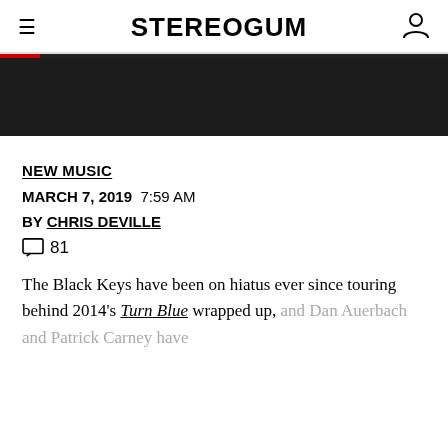STEREOGUM
[Figure (photo): Dark hero image, mostly black/dark background]
NEW MUSIC
MARCH 7, 2019  7:59 AM
BY CHRIS DEVILLE
81 comments
The Black Keys have been on hiatus ever since touring behind 2014's Turn Blue wrapped up, and Dan Auerbach and Patrick Carney have